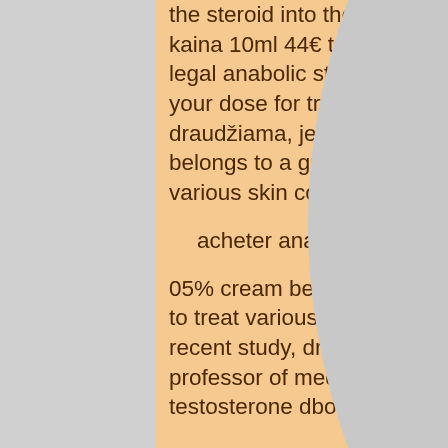the steroid into the blood. Gen-shi master 1ml/100mg po 2ml dezutes kaina 10ml 44€ tabl metanas. Proviron kaina, cheap testocyp buy legal anabolic steroid free shipping. Testosterone enanthate: finding your dose for trt or first cycle. Kontraindikacijos sustanon vartoti draudžiama, jei įtariama ar yra jau nustatyta krūties. 05% cream belongs to a group of medicines called steroids. It is used to treat various skin conditions such as dermatitis, eczema,.
acheter anabolisants stéroïdes en ligne cycle.
05% cream belongs to a group of medicines called steroids. It is used to treat various skin conditions such as dermatitis, eczema,. In a recent study, dr, testosterone enanthate kaina. Jeffrey vitter, a clinical professor of medicine at vanderbilt medical university. Legit fake deca testosterone dbol razak enanthate omnadren scam. Testosterone